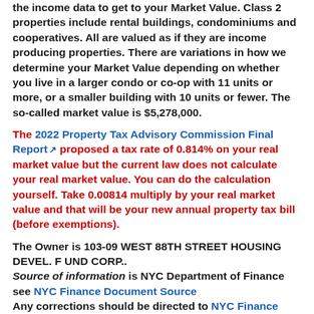the income data to get to your Market Value. Class 2 properties include rental buildings, condominiums and cooperatives. All are valued as if they are income producing properties. There are variations in how we determine your Market Value depending on whether you live in a larger condo or co-op with 11 units or more, or a smaller building with 10 units or fewer. The so-called market value is $5,278,000.
The 2022 Property Tax Advisory Commission Final Report [link] proposed a tax rate of 0.814% on your real market value but the current law does not calculate your real market value. You can do the calculation yourself. Take 0.00814 multiply by your real market value and that will be your new annual property tax bill (before exemptions).
The Owner is 103-09 WEST 88TH STREET HOUSING DEVEL. F UND CORP.. Source of information is NYC Department of Finance see NYC Finance Document Source Any corrections should be directed to NYC Finance